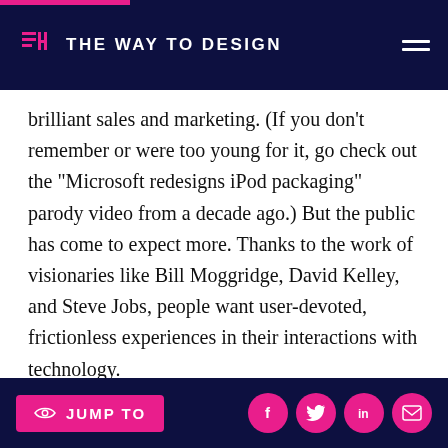THE WAY TO DESIGN
brilliant sales and marketing. (If you don’t remember or were too young for it, go check out the “Microsoft redesigns iPod packaging” parody video from a decade ago.) But the public has come to expect more. Thanks to the work of visionaries like Bill Moggridge, David Kelley, and Steve Jobs, people want user-devoted, frictionless experiences in their interactions with technology.
Jobs’ influence is especially pronounced. Perhaps no single product has reshaped what people expect of designed technology more than the iPhone. Ever since its
JUMP TO